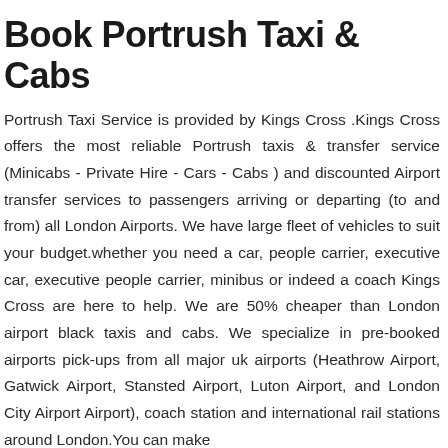Book Portrush Taxi & Cabs
Portrush Taxi Service is provided by Kings Cross .Kings Cross offers the most reliable Portrush taxis & transfer service (Minicabs - Private Hire - Cars - Cabs ) and discounted Airport transfer services to passengers arriving or departing (to and from) all London Airports. We have large fleet of vehicles to suit your budget.whether you need a car, people carrier, executive car, executive people carrier, minibus or indeed a coach Kings Cross are here to help. We are 50% cheaper than London airport black taxis and cabs. We specialize in pre-booked airports pick-ups from all major uk airports (Heathrow Airport, Gatwick Airport, Stansted Airport, Luton Airport, and London City Airport Airport), coach station and international rail stations around London.You can make